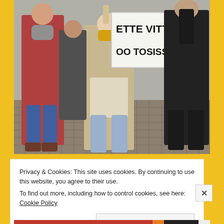[Figure (photo): Outdoor protest scene with several people walking on cobblestone. A young woman in the center holds a large white sign reading 'ETTE VITTU OO TOSISSAAN' in bold black letters. She wears a beige coat and yellow scarf. Other protesters visible around her.]
Privacy & Cookies: This site uses cookies. By continuing to use this website, you agree to their use.
To find out more, including how to control cookies, see here: Cookie Policy
Close and accept